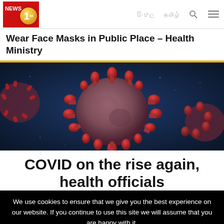NEWS 1st | සිංහල | தமிழ்
Wear Face Masks in Public Place – Health Ministry
[Figure (photo): Close-up 3D rendering of coronavirus (COVID-19) particles on a dark blue background, showing red spike proteins on the viral surface.]
COVID on the rise again, health officials
We use cookies to ensure that we give you the best experience on our website. If you continue to use this site we will assume that you are happy with it.